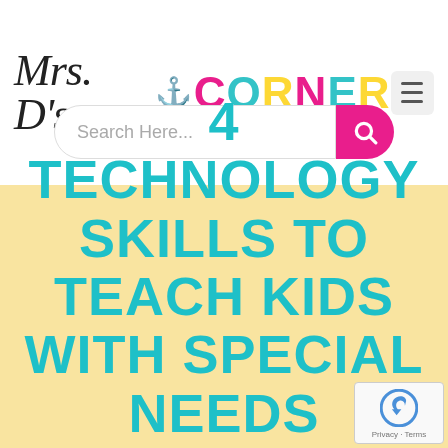[Figure (logo): Mrs. D's Corner logo with script text and anchor icon, CORNER in bold multicolor letters]
[Figure (screenshot): Search bar with placeholder text 'Search Here...' and pink search button]
4 TECHNOLOGY SKILLS TO TEACH KIDS WITH SPECIAL NEEDS